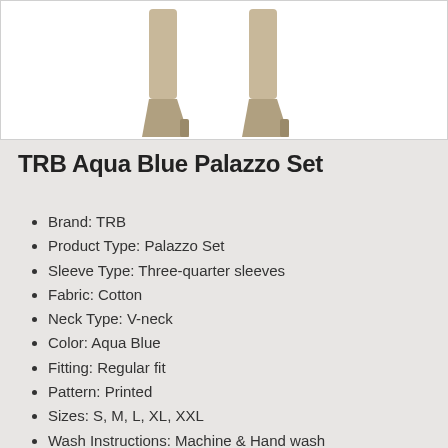[Figure (photo): Product photo showing two views of a person wearing an aqua blue palazzo set with high heels, only the lower legs and feet visible.]
TRB Aqua Blue Palazzo Set
Brand: TRB
Product Type: Palazzo Set
Sleeve Type: Three-quarter sleeves
Fabric: Cotton
Neck Type: V-neck
Color: Aqua Blue
Fitting: Regular fit
Pattern: Printed
Sizes: S, M, L, XL, XXL
Wash Instructions: Machine & Hand wash
Package Contents: 1 piece of palazzo and Kurti
Country of Origin: India